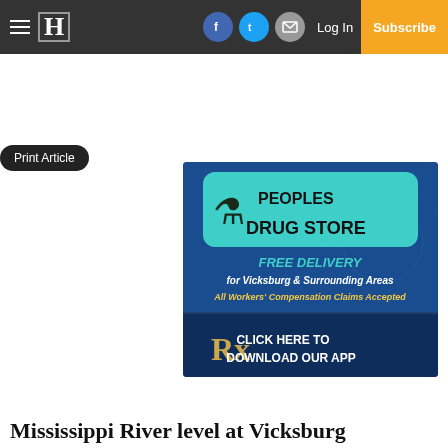Hamburger menu | H logo | Facebook | Twitter | Email | Log In | Subscribe
Print Article
[Figure (advertisement): Peoples Drug Store advertisement on blue background. Shows pharmacy mortar and pestle icon. Text: PEOPLES DRUG STORE | FREE DELIVERY for Vicksburg & Surrounding Areas | All Workers' Compensation Claims Accepted | Rx logo | CLICK HERE TO DOWNLOAD OUR APP]
Mississippi River level at Vicksburg